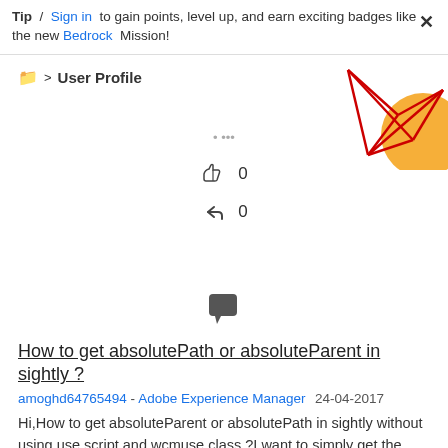Tip / Sign in to gain points, level up, and earn exciting badges like the new Bedrock Mission!
> User Profile
[Figure (illustration): Decorative geometric red line art with orange circle shapes in the upper right corner]
👍 0
↩ 0
[Figure (illustration): Dark speech/chat bubble icon]
How to get absolutePath or absoluteParent in sightly ?
amoghd64765494 - Adobe Experience Manager 24-04-2017
Hi,How to get absoluteParent or absolutePath in sightly without using use script and wcmuse class ?I want to simply get the page path till homepage from any child page and want append my custom path. It should be something like . ${currentPage.getAbsoluteParent.path} by passing int as a level